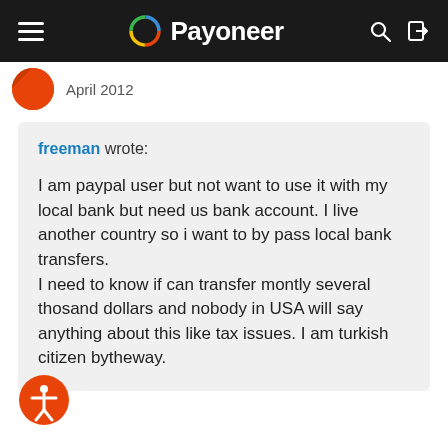Payoneer
April 2012
freeman wrote:

I am paypal user but not want to use it with my local bank but need us bank account. I live another country so i want to by pass local bank transfers.
I need to know if can transfer montly several thosand dollars and nobody in USA will say anything about this like tax issues. I am turkish citizen bytheway.